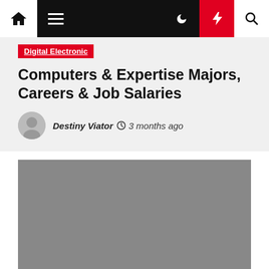Navigation bar with home, menu, moon, flash, and search icons
Digital Electronic
Computers & Expertise Majors, Careers & Job Salaries
Destiny Viator  3 months ago
[Figure (photo): Gray placeholder image for article content]